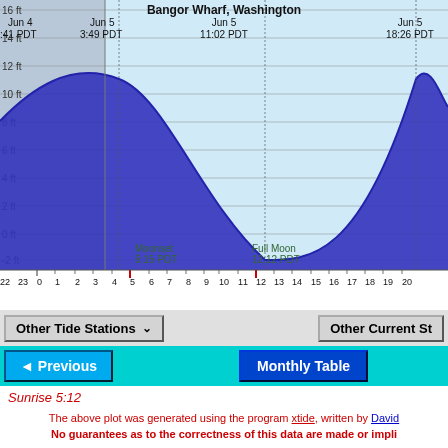[Figure (continuous-plot): Tide chart for Bangor Wharf, Washington showing tide height in feet over time. X-axis shows hours (22 23 0 1 2 3 4 5 6 7 8 9 10 11 12 13 14 15 16 17 18 19 20). Y-axis shows height from -2 ft to 16 ft. Two high tide peaks visible (~11 ft at ~Jun 5 3:49 PDT and ~11 ft at ~Jun 5 18:26 PDT) and one low tide (~-2 ft at ~Jun 5 11:02 PDT). Annotations: Moonset 5:15 PDT, Full Moon 12:12 PDT. Left portion (night) shaded gray, rest light blue. Tide curve filled with dark blue.]
Other Tide Stations
Other Current Stations
◄ Previous
Monthly Table
Sunrise 5:12
The above plot was generated using the program xtide, written by David
No guarantees as to the correctness of this data are made or impli